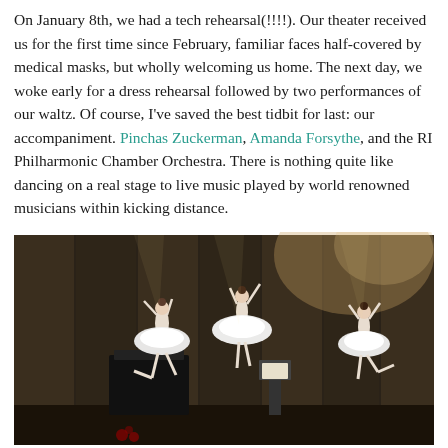On January 8th, we had a tech rehearsal(!!!!). Our theater received us for the first time since February, familiar faces half-covered by medical masks, but wholly welcoming us home. The next day, we woke early for a dress rehearsal followed by two performances of our waltz. Of course, I've saved the best tidbit for last: our accompaniment. Pinchas Zuckerman, Amanda Forsythe, and the RI Philharmonic Chamber Orchestra. There is nothing quite like dancing on a real stage to live music played by world renowned musicians within kicking distance.
[Figure (photo): Three ballet dancers in white tutus performing on a stage, arms raised, with concert equipment and warm stage lighting in the background.]